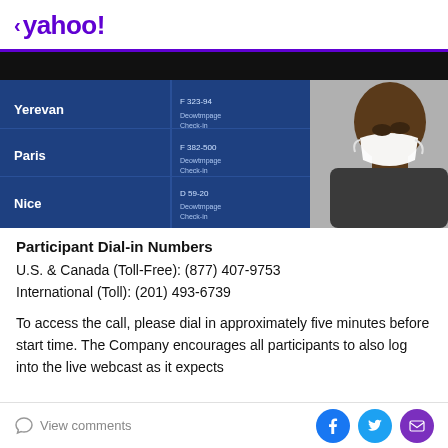< yahoo!
[Figure (photo): A man wearing a white face mask looking at an airport departure/arrival board showing destinations including Yerevan, Paris, and Nice with flight information in blue and white]
Participant Dial-in Numbers
U.S. & Canada (Toll-Free): (877) 407-9753
International (Toll): (201) 493-6739
To access the call, please dial in approximately five minutes before start time. The Company encourages all participants to also log into the live webcast as it expects
View comments